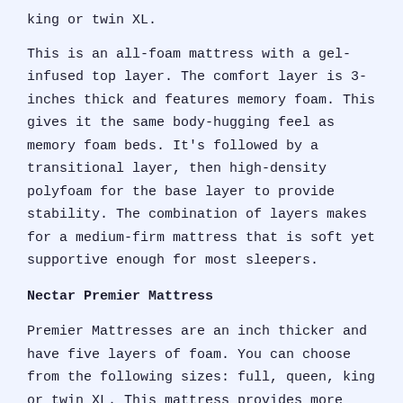king or twin XL.
This is an all-foam mattress with a gel-infused top layer. The comfort layer is 3-inches thick and features memory foam. This gives it the same body-hugging feel as memory foam beds. It's followed by a transitional layer, then high-density polyfoam for the base layer to provide stability. The combination of layers makes for a medium-firm mattress that is soft yet supportive enough for most sleepers.
Nectar Premier Mattress
Premier Mattresses are an inch thicker and have five layers of foam. You can choose from the following sizes: full, queen, king or twin XL. This mattress provides more cushioning than its predecessor, which makes it ideal for side sleepers who need more pressure relief. It's also more cooling due to phase-change material in the top layer.